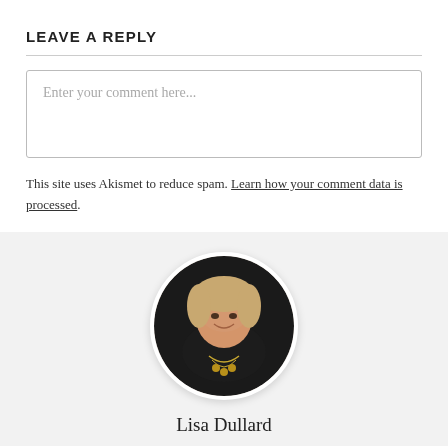LEAVE A REPLY
[Figure (screenshot): Comment text input box with placeholder text 'Enter your comment here...']
This site uses Akismet to reduce spam. Learn how your comment data is processed.
[Figure (photo): Circular profile photo of Lisa Dullard, a woman smiling, wearing a dark top and necklaces]
Lisa Dullard